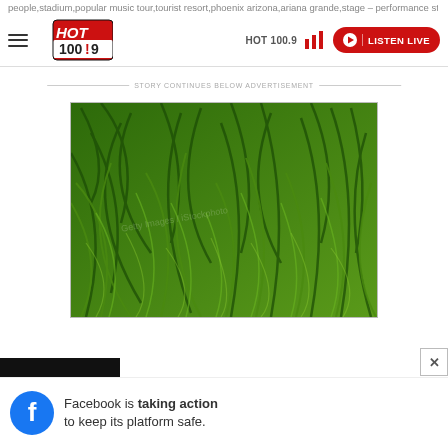HOT 100.9 | LISTEN LIVE
people,stadium,popular music tour,tourist resort,phoenix arizona,ariana grande,stage – performance stage
STORY CONTINUES BELOW ADVERTISEMENT
[Figure (photo): Close-up photo of green grass blades scattered across the frame]
Facebook is taking action to keep its platform safe.